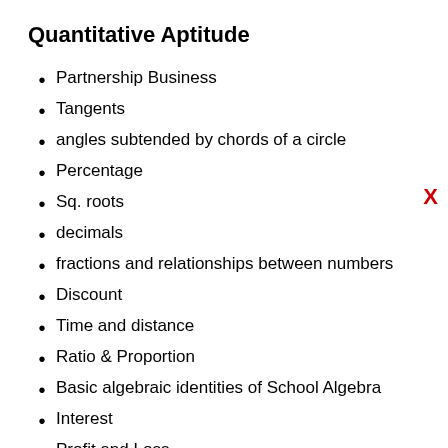Quantitative Aptitude
Partnership Business
Tangents
angles subtended by chords of a circle
Percentage
Sq. roots
decimals
fractions and relationships between numbers
Discount
Time and distance
Ratio & Proportion
Basic algebraic identities of School Algebra
Interest
Profit and Loss